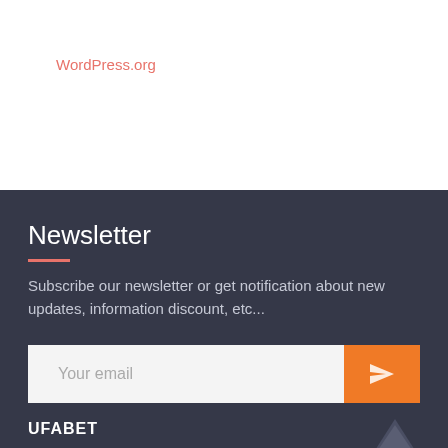WordPress.org
Newsletter
Subscribe our newsletter or get notification about new updates, information discount, etc...
Your email
UFABET
Latest Post
About Us
Categories